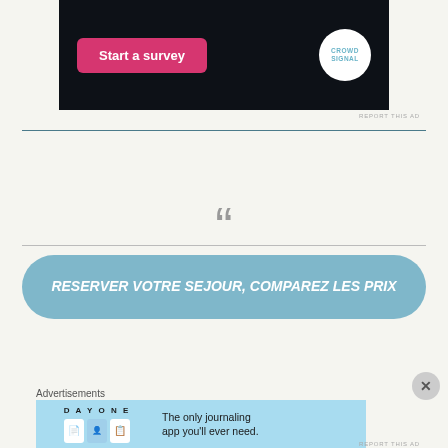[Figure (screenshot): Advertisement banner with dark background showing 'Start a survey' pink button and Crowdsignal logo]
REPORT THIS AD
[Figure (infographic): Opening quotation mark graphic in gray]
RESERVER VOTRE SEJOUR, COMPAREZ LES PRIX
Advertisements
[Figure (screenshot): Day One journaling app advertisement: 'The only journaling app you'll ever need.']
REPORT THIS AD